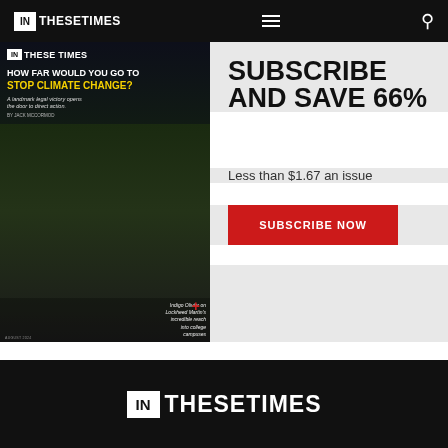IN THESE TIMES
[Figure (photo): Magazine cover of In These Times featuring a headline 'How far would you go to stop climate change?' with subheading 'Stop Climate Change?' and article text about a landmark legal victory opening doors to direct action, by Jack Mccormod. Cover also features 'Indigo Olivier on Lockheed Martin's incredible reach into college campuses'. Night-time street scene with person lying on road in protest.]
SUBSCRIBE AND SAVE 66%
Less than $1.67 an issue
SUBSCRIBE NOW
IN THESE TIMES